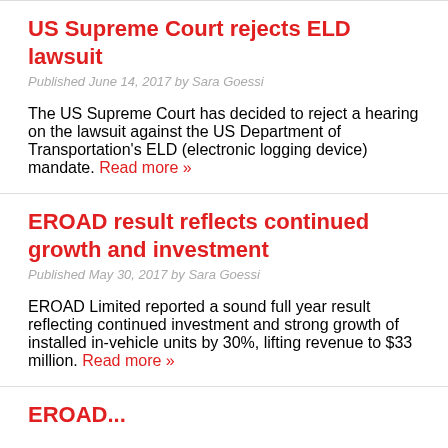US Supreme Court rejects ELD lawsuit
Published June 14, 2017 by Sara Goessi
The US Supreme Court has decided to reject a hearing on the lawsuit against the US Department of Transportation's ELD (electronic logging device) mandate. Read more »
EROAD result reflects continued growth and investment
Published May 30, 2017 by Sara Goessi
EROAD Limited reported a sound full year result reflecting continued investment and strong growth of installed in-vehicle units by 30%, lifting revenue to $33 million. Read more »
EROAD...